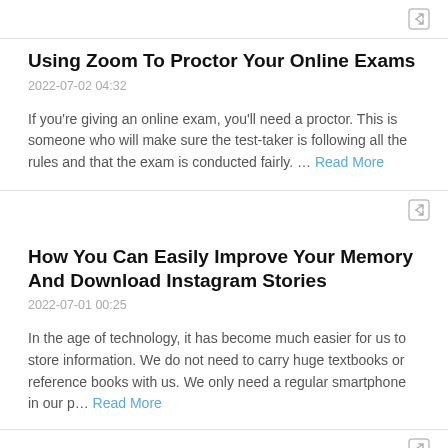Using Zoom To Proctor Your Online Exams
2022-07-02 04:32
If you're giving an online exam, you'll need a proctor. This is someone who will make sure the test-taker is following all the rules and that the exam is conducted fairly. … Read More
How You Can Easily Improve Your Memory And Download Instagram Stories
2022-07-01 00:25
In the age of technology, it has become much easier for us to store information. We do not need to carry huge textbooks or reference books with us. We only need a regular smartphone in our p… Read More
All You Need To Know About Free Bot Traffic
2022-06-30 16:44